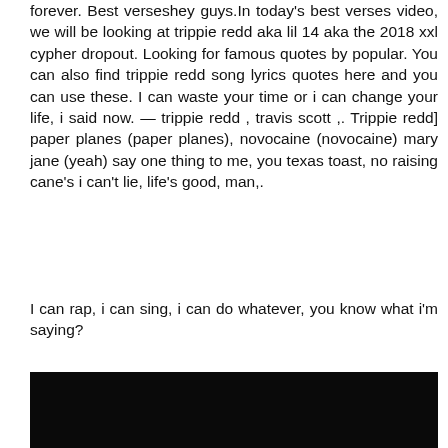forever. Best verseshey guys.In today's best verses video, we will be looking at trippie redd aka lil 14 aka the 2018 xxl cypher dropout. Looking for famous quotes by popular. You can also find trippie redd song lyrics quotes here and you can use these. I can waste your time or i can change your life, i said now. — trippie redd , travis scott ,. Trippie redd] paper planes (paper planes), novocaine (novocaine) mary jane (yeah) say one thing to me, you texas toast, no raising cane's i can't lie, life's good, man,.
I can rap, i can sing, i can do whatever, you know what i'm saying?
[Figure (photo): Dark/black image area at the bottom of the page]